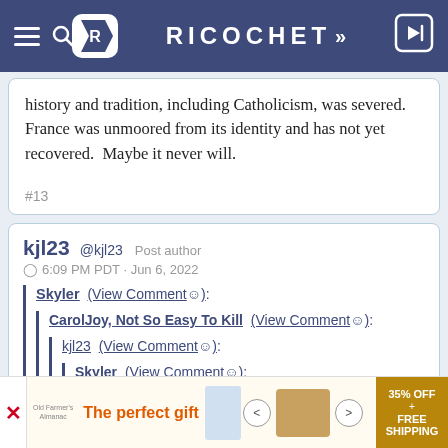RICOCHET
history and tradition, including Catholicism, was severed.  France was unmoored from its identity and has not yet recovered.  Maybe it never will.
#13
kjl23 @kjl23  Post author
⊙ 6:09 PM PDT · Jun 6, 2022
Skyler (View Comment☺):
CarolJoy, Not So Easy To Kill (View Comment☺):
kjl23 (View Comment☺):
Skyler (View Comment☺):
[Figure (other): Advertisement banner: The perfect gift, 35% OFF + FREE SHIPPING]